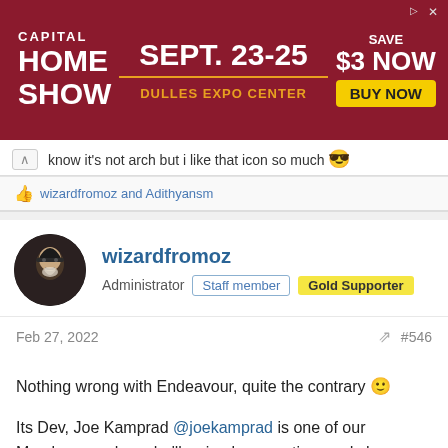[Figure (other): Capital Home Show advertisement banner. Sept. 23-25, Dulles Expo Center. Save $3 Now. Buy Now button.]
know it's not arch but I like that icon so much 😎
👍 wizardfromoz and Adithyansm
wizardfromoz
Administrator   Staff member   Gold Supporter
Feb 27, 2022   #546
Nothing wrong with Endeavour, quite the contrary 🙂

Its Dev, Joe Kamprad @joekamprad is one of our Members, perhaps he'll swing by sometime and show us his desktop?

Wiz
👍 lomszz